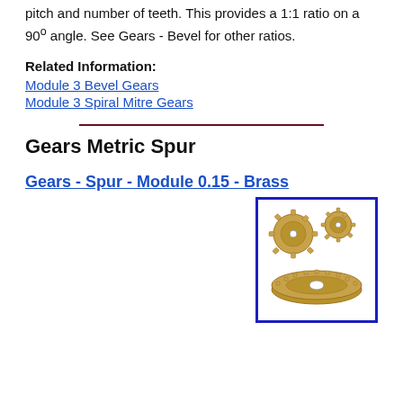pitch and number of teeth. This provides a 1:1 ratio on a 90° angle. See Gears - Bevel for other ratios.
Related Information:
Module 3 Bevel Gears
Module 3 Spiral Mitre Gears
Gears Metric Spur
Gears - Spur - Module 0.15 - Brass
[Figure (photo): Three brass spur gears of different sizes arranged together, showing gear teeth detail]